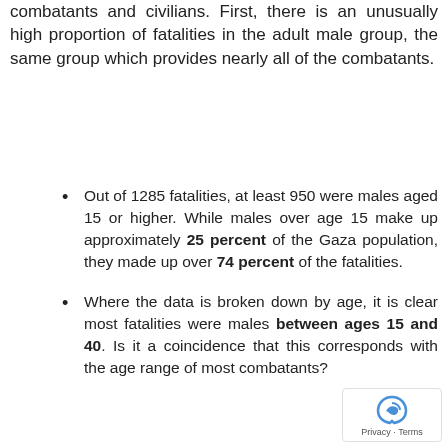combatants and civilians. First, there is an unusually high proportion of fatalities in the adult male group, the same group which provides nearly all of the combatants.
Out of 1285 fatalities, at least 950 were males aged 15 or higher. While males over age 15 make up approximately 25 percent of the Gaza population, they made up over 74 percent of the fatalities.
Where the data is broken down by age, it is clear most fatalities were males between ages 15 and 40. Is it a coincidence that this corresponds with the age range of most combatants?